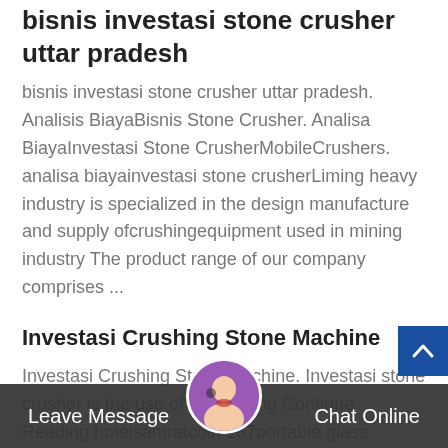bisnis investasi stone crusher uttar pradesh
bisnis investasi stone crusher uttar pradesh. Analisis BiayaBisnis Stone Crusher. Analisa BiayaInvestasi Stone CrusherMobileCrushers. analisa biayainvestasi stone crusherLiming heavy industry is specialized in the design manufacture and supply ofcrushingequipment used in mining industry The product range of our company comprises ...
Investasi Crushing Stone Machine
Investasi Crushing Stone Machine. Investasi stone crusher is the use of of crushing Continue Reading hotelsamratcoin 187portable glass crusher machine fittin on a table Investasi Mesin Stone Crusher krishnapropertiorgin Home gtProducts gtInvestasi Mesin Stone Crusher In Mesin Stone crusher mesin chip mill mining investasi limited 5 gallon
Leave Message   Chat Online